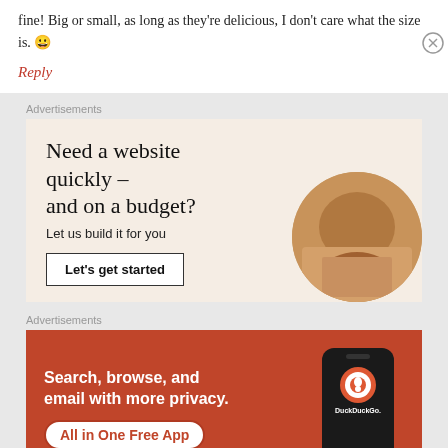fine! Big or small, as long as they're delicious, I don't care what the size is. 😀
Reply
Advertisements
[Figure (illustration): Advertisement for website building service. Headline: 'Need a website quickly – and on a budget?' Subtext: 'Let us build it for you'. Button: 'Let's get started'. Beige background with photo of person working.]
Advertisements
[Figure (illustration): DuckDuckGo advertisement on orange/red background. Text: 'Search, browse, and email with more privacy.' Badge: 'All in One Free App'. Shows a phone with DuckDuckGo logo.]